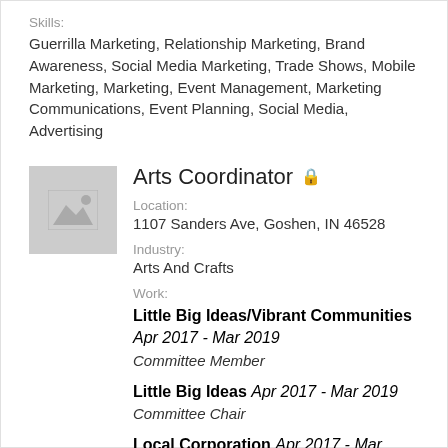Skills:
Guerrilla Marketing, Relationship Marketing, Brand Awareness, Social Media Marketing, Trade Shows, Mobile Marketing, Marketing, Event Management, Marketing Communications, Event Planning, Social Media, Advertising
Arts Coordinator
[Figure (photo): Placeholder company logo image with mountain/landscape icon]
Location:
1107 Sanders Ave, Goshen, IN 46528
Industry:
Arts And Crafts
Work:
Little Big Ideas/Vibrant Communities Apr 2017 - Mar 2019
Committee Member
Little Big Ideas Apr 2017 - Mar 2019
Committee Chair
Local Corporation Apr 2017 - Mar 2019